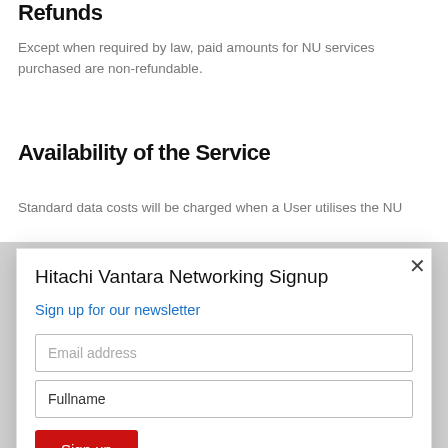Refunds
Except when required by law, paid amounts for NU services purchased are non-refundable.
Availability of the Service
Standard data costs will be charged when a User utilises the NU
[Figure (screenshot): Modal popup: Hitachi Vantara Networking Signup with newsletter sign-up form containing Email address field, Fullname field, and a red Sign up button. A close (×) button is in the top right corner.]